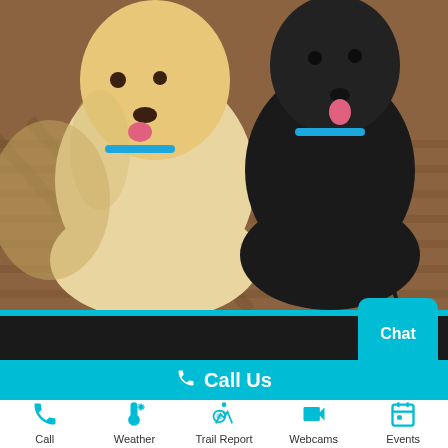[Figure (photo): Two dogs standing on a wooden deck — one large cream/golden fluffy dog with a blue collar on the left, and one large black curly-coated dog with a blue collar on the right, both with tongues out and on leashes.]
Chat
Call Us
Call
Weather
Trail Report
Webcams
Events